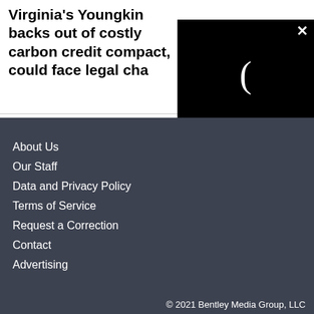Virginia's Youngkin backs out of costly carbon credit compact, could face legal cha
[Figure (screenshot): Black video player popup with loading spinner icon (crescent shape) and close X button in top right corner]
About Us
Our Staff
Data and Privacy Policy
Terms of Service
Request a Correction
Contact
Advertising
© 2021 Bentley Media Group, LLC